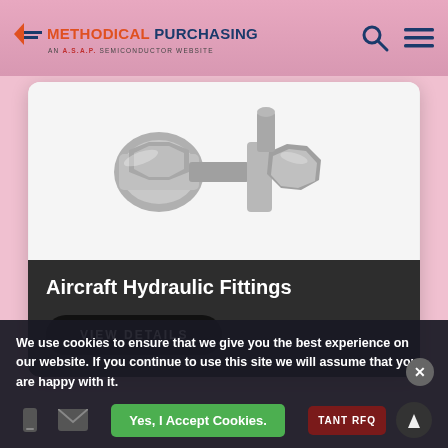[Figure (logo): Methodical Purchasing logo - An ASAP Semiconductor website]
[Figure (photo): Aircraft hydraulic fittings - metallic pipe connectors and nuts]
Aircraft Hydraulic Fittings
VIEW DETAILS
We use cookies to ensure that we give you the best experience on our website. If you continue to use this site we will assume that you are happy with it.
Yes, I Accept Cookies.